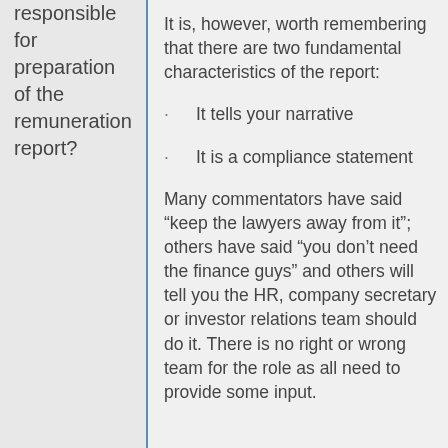responsible for preparation of the remuneration report?
It is, however, worth remembering that there are two fundamental characteristics of the report:
It tells your narrative
It is a compliance statement
Many commentators have said “keep the lawyers away from it”; others have said “you don’t need the finance guys” and others will tell you the HR, company secretary or investor relations team should do it. There is no right or wrong team for the role as all need to provide some input.